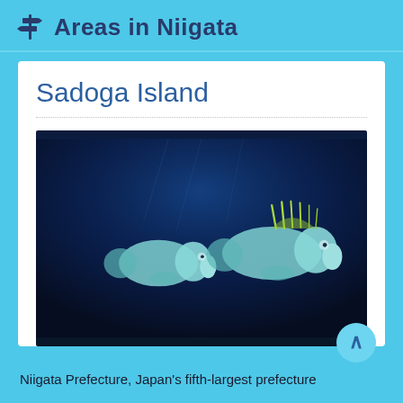Areas in Niigata
Sadoga Island
[Figure (photo): Underwater photograph of two fish (wrasse species) swimming in deep blue ocean water near Sadoga Island, Niigata. The fish have distinctive blue and green coloring with spiny dorsal fins.]
Niigata Prefecture, Japan's fifth-largest prefecture